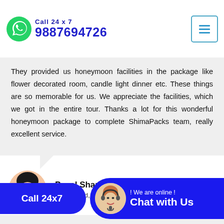Call 24 x 7 9887694726
They provided us honeymoon facilities in the package like flower decorated room, candle light dinner etc. These things are so memorable for us. We appreciate the facilities, which we got in the entire tour. Thanks a lot for this wonderful honeymoon package to complete ShimaPacks team, really excellent service.
Payal Sharma
Hyderabad, Telangana
I am from Chennai. Summer time is too humidity in Chennai so friends decided package from provided us best tour package in our budget. The hotel where We